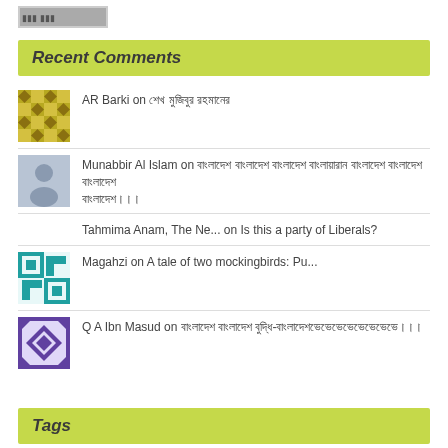[Figure (logo): Small logo/header image at top left]
Recent Comments
AR Barki on শেখ মুজিবুর রহমানের
Munabbir Al Islam on বাংলাদেশ বাংলাদেশ বাংলাদেশ বাংলা...
Tahmima Anam, The Ne... on Is this a party of Liberals?
Magahzi on A tale of two mockingbirds: Pu...
Q A Ibn Masud on বাংলাদেশ বাংলাদেশ বুদ্ধি-বাংলাদেশ...
Tags